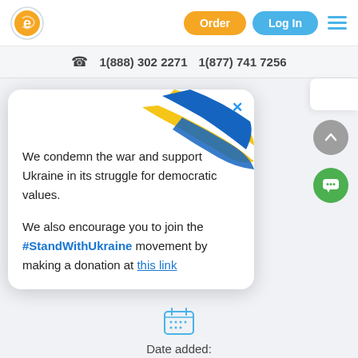[Figure (logo): Orange circular logo with stylized 'e' icon]
Order
Log In
1(888) 302 2271   1(877) 741 7256
We condemn the war and support Ukraine in its struggle for democratic values.

We also encourage you to join the #StandWithUkraine movement by making a donation at this link
[Figure (illustration): Ukrainian flag ribbon decoration (yellow and blue intertwined ribbon)]
[Figure (other): Scroll-up arrow button (grey circle with white up arrow)]
[Figure (other): Chat button (green circle with speech bubble and three dots)]
[Figure (other): Calendar icon in blue]
Date added:
February 16, 2017